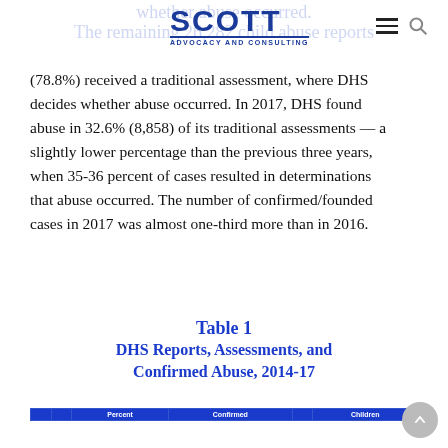SCOTT ADVOCACY AND CONSULTING
The remaining 26,282 child abuse reports (78.8%) received a traditional assessment, where DHS decides whether abuse occurred. In 2017, DHS found abuse in 32.6% (8,858) of its traditional assessments — a slightly lower percentage than the previous three years, when 35-36 percent of cases resulted in determinations that abuse occurred. The number of confirmed/founded cases in 2017 was almost one-third more than in 2016.
Table 1
DHS Reports, Assessments, and Confirmed Abuse, 2014-17
|  |  | Percent | Confirmed |  | Children |
| --- | --- | --- | --- | --- | --- |